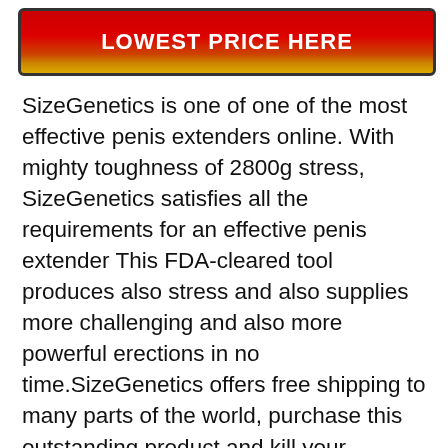[Figure (other): Red-to-yellow gradient banner button with bold white text reading LOWEST PRICE HERE, bordered with dark outline]
SizeGenetics is one of one of the most effective penis extenders online. With mighty toughness of 2800g stress, SizeGenetics satisfies all the requirements for an effective penis extender This FDA-cleared tool produces also stress and also supplies more challenging and also more powerful erections in no time.SizeGenetics offers free shipping to many parts of the world, purchase this outstanding product and kill your sensation of being left out. The price of this extender starts at an inexpensive rate of $200 and also can rise to $300 for the premium bundle. SizeGenetics uses a money-back guarantee to their worthy